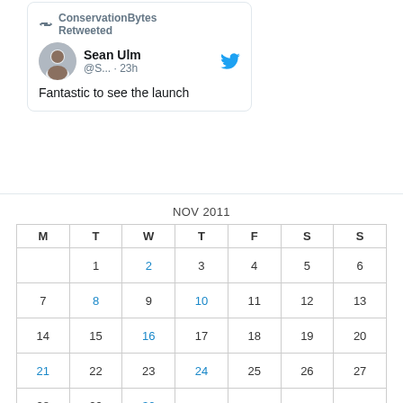[Figure (screenshot): Twitter embed card: ConservationBytes Retweeted. Sean Ulm @S... · 23h. Fantastic to see the launch]
| M | T | W | T | F | S | S |
| --- | --- | --- | --- | --- | --- | --- |
|  | 1 | 2 | 3 | 4 | 5 | 6 |
| 7 | 8 | 9 | 10 | 11 | 12 | 13 |
| 14 | 15 | 16 | 17 | 18 | 19 | 20 |
| 21 | 22 | 23 | 24 | 25 | 26 | 27 |
| 28 | 29 | 30 |  |  |  |  |
« Oct   Dec »